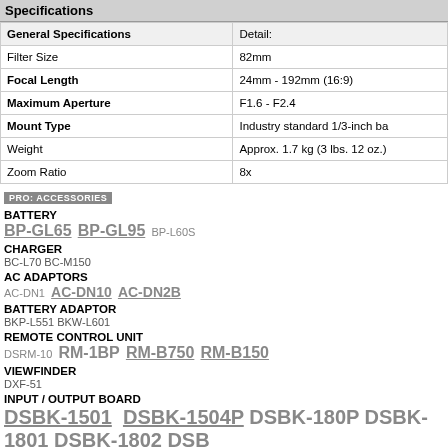Specifications
| General Specifications | Detail: |
| --- | --- |
| Filter Size | 82mm |
| Focal Length | 24mm - 192mm (16:9) |
| Maximum Aperture | F1.6 - F2.4 |
| Mount Type | Industry standard 1/3-inch ba |
| Weight | Approx. 1.7 kg (3 lbs. 12 oz.) |
| Zoom Ratio | 8x |
PRO: ACCESSORIES
BATTERY
BP-GL65 BP-GL95 BP-L60S
CHARGER
BC-L70 BC-M150
AC ADAPTORS
AC-DN1 AC-DN10 AC-DN2B
BATTERY ADAPTOR
BKP-L551 BKW-L601
REMOTE CONTROL UNIT
DSRM-10 RM-1BP RM-B750 RM-B150
VIEWFINDER
DXF-51
INPUT / OUTPUT BOARD
DSBK-1501 DSBK-1504P DSBK-180P DSBK-1801 DSBK-1802 DSB